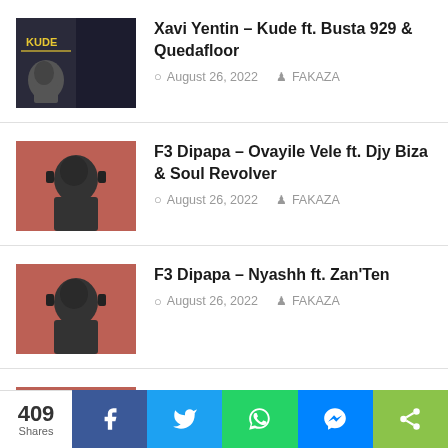Xavi Yentin – Kude ft. Busta 929 & Quedafloor | August 26, 2022 | FAKAZA
F3 Dipapa – Ovayile Vele ft. Djy Biza & Soul Revolver | August 26, 2022 | FAKAZA
F3 Dipapa – Nyashh ft. Zan'Ten | August 26, 2022 | FAKAZA
F3 Dipapa – Go Monate ft. Kay Invictus & Lemaza | August 26, 2022 | FAKAZA
409 Shares